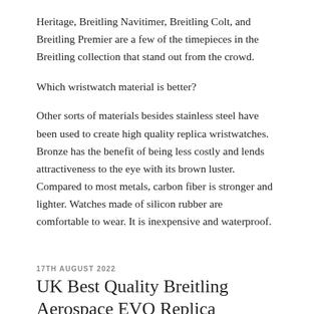Heritage, Breitling Navitimer, Breitling Colt, and Breitling Premier are a few of the timepieces in the Breitling collection that stand out from the crowd.
Which wristwatch material is better?
Other sorts of materials besides stainless steel have been used to create high quality replica wristwatches. Bronze has the benefit of being less costly and lends attractiveness to the eye with its brown luster. Compared to most metals, carbon fiber is stronger and lighter. Watches made of silicon rubber are comfortable to wear. It is inexpensive and waterproof.
17TH AUGUST 2022
UK Best Quality Breitling Aerospace EVO Replica Watches For Sale